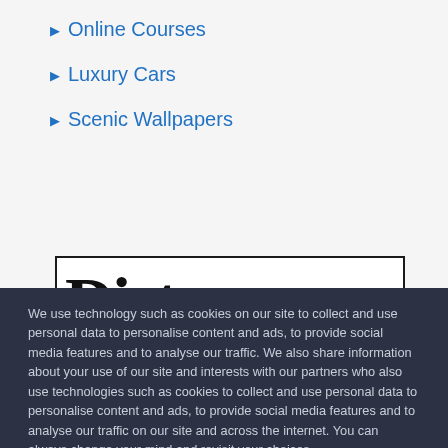Online Courses
Luxury Cars
Scenic Wallpapers
[Figure (illustration): Partially visible bold serif text reading 'Di...' inside a black-bordered rectangle — likely a website or publication logo]
We use technology such as cookies on our site to collect and use personal data to personalise content and ads, to provide social media features and to analyse our traffic. We also share information about your use of our site and interests with our partners who also use technologies such as cookies to collect and use personal data to personalise content and ads, to provide social media features and to analyse our traffic on our site and across the internet. You can always change your mind and revisit your choices.